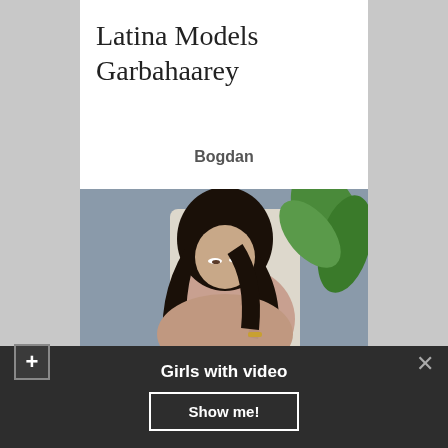Latina Models Garbahaarey
Bogdan
[Figure (photo): Young woman with long dark hair, looking down, seated on a white sofa with a green plant in the background]
Girls with video
Show me!